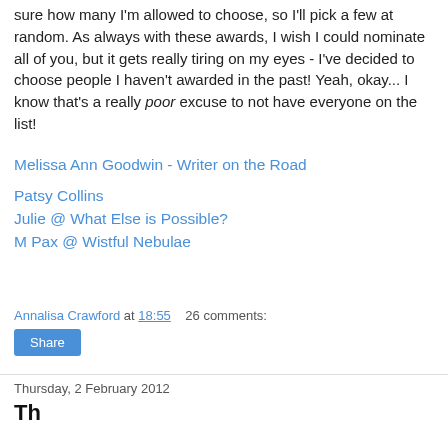sure how many I'm allowed to choose, so I'll pick a few at random. As always with these awards, I wish I could nominate all of you, but it gets really tiring on my eyes - I've decided to choose people I haven't awarded in the past! Yeah, okay... I know that's a really poor excuse to not have everyone on the list!
Melissa Ann Goodwin - Writer on the Road
Patsy Collins
Julie @ What Else is Possible?
M Pax @ Wistful Nebulae
Annalisa Crawford at 18:55   26 comments:
Share
Thursday, 2 February 2012
Th...